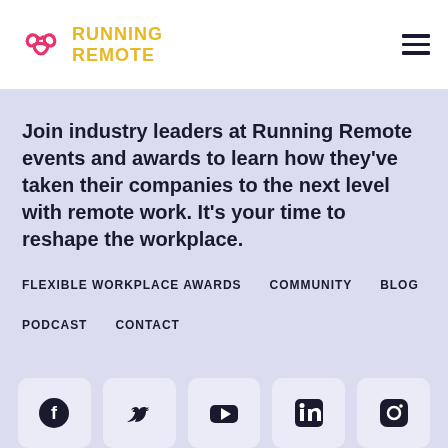[Figure (logo): Running Remote logo with pink/red infinity-knot icon and yellow uppercase text RUNNING REMOTE]
Join industry leaders at Running Remote events and awards to learn how they've taken their companies to the next level with remote work. It's your time to reshape the workplace.
FLEXIBLE WORKPLACE AWARDS
COMMUNITY
BLOG
PODCAST
CONTACT
[Figure (illustration): Social media icons row: Facebook, Twitter, YouTube, LinkedIn, Instagram]